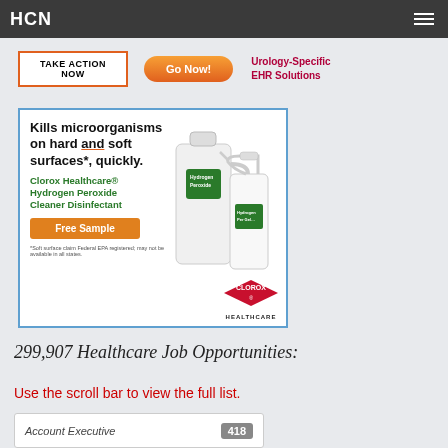HCN
[Figure (screenshot): Banner ads row: 'TAKE ACTION NOW' button with orange border, 'Go Now!' orange rounded button, 'Urology-Specific EHR Solutions' red text]
[Figure (advertisement): Clorox Healthcare Hydrogen Peroxide Cleaner Disinfectant ad. Text: 'Kills microorganisms on hard and soft surfaces*, quickly.' with Free Sample button and Clorox Healthcare logo. Footnote: *Soft surface claim Federal EPA registered; may not be available in all states.]
299,907 Healthcare Job Opportunities:
Use the scroll bar to view the full list.
| Job Title | Count |
| --- | --- |
| Account Executive | 418 |